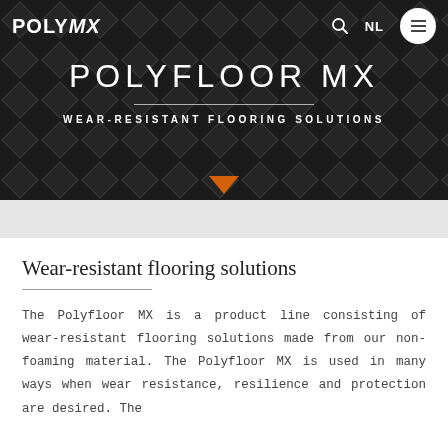[Figure (screenshot): Hero banner with diamond-pattern dark floor texture background showing the POLYFLOOR MX product page header]
POLYMX — Q NL ☰
POLYFLOOR MX
WEAR-RESISTANT FLOORING SOLUTIONS
Wear-resistant flooring solutions
The Polyfloor MX is a product line consisting of wear-resistant flooring solutions made from our non-foaming material. The Polyfloor MX is used in many ways when wear resistance, resilience and protection are desired. The